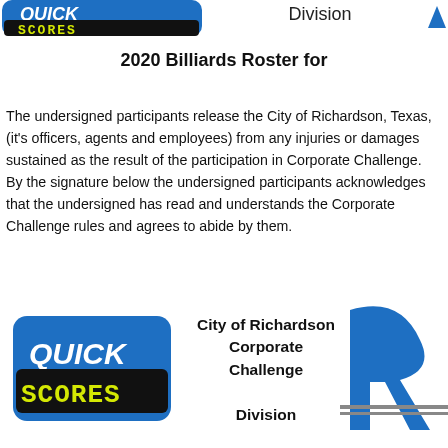[Figure (logo): Quick Scores logo - blue rounded rectangle with QUICK in white italic text and SCORES in yellow LED-style font on black background]
Division
2020 Billiards Roster for
The undersigned participants release the City of Richardson, Texas, (it's officers, agents and employees) from any injuries or damages sustained as the result of the participation in Corporate Challenge. By the signature below the undersigned participants acknowledges that the undersigned has read and understands the Corporate Challenge rules and agrees to abide by them.
[Figure (logo): Quick Scores logo - blue rounded rectangle with QUICK in white italic text and SCORES in yellow LED-style font on black background]
City of Richardson Corporate Challenge
Division
[Figure (logo): Partial blue stylized R or P logo on right side]